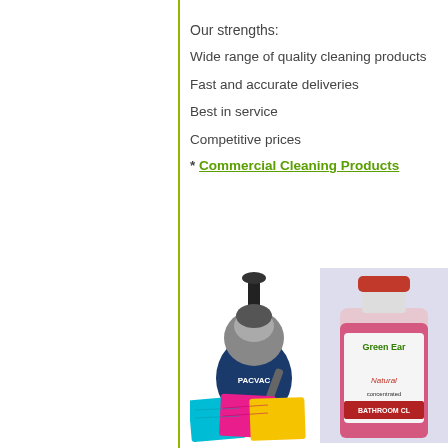Our strengths:
Wide range of quality cleaning products
Fast and accurate deliveries
Best in service
Competitive prices
* Commercial Cleaning Products
[Figure (photo): Pacvac backpack vacuum cleaner (blue and silver)]
[Figure (photo): Green Earth Natural Concentrated Bathroom Cleaner bottle (pink liquid, red cap)]
[Figure (photo): Colorful microfiber cleaning cloths (teal, pink, yellow)]